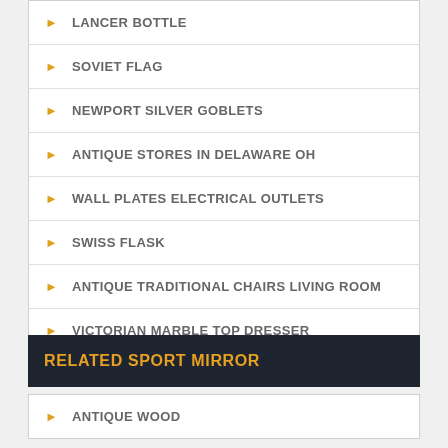LANCER BOTTLE
SOVIET FLAG
NEWPORT SILVER GOBLETS
ANTIQUE STORES IN DELAWARE OH
WALL PLATES ELECTRICAL OUTLETS
SWISS FLASK
ANTIQUE TRADITIONAL CHAIRS LIVING ROOM
VICTORIAN MARBLE TOP DRESSER
RELATED SPORT MIRROR
ANTIQUE WOOD